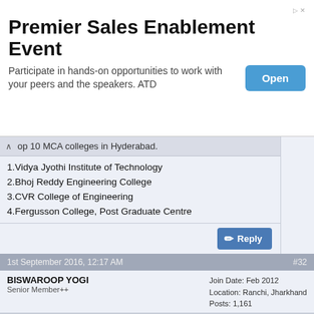[Figure (screenshot): Advertisement banner: 'Premier Sales Enablement Event' with Open button]
op 10 MCA colleges in Hyderabad.
1.Vidya Jyothi Institute of Technology
2.Bhoj Reddy Engineering College
3.CVR College of Engineering
4.Fergusson College, Post Graduate Centre
5.Hyderabad Presidency Degree College and Post Graduate Centre
6.Nalla Malla Reddy Engineering College
7.Bharat Institute of Engineering and Technology
8.Vasavi College of Engineering
9.Chaitanya Bharathi Institute of Technology
10.Srinidhi College of Engineering
11.Gokaraju Rangaraju Institute of Engineering Technology
12.C V S R College of Engineering.
Thank you------------------
1st September 2016, 12:17 AM  #32  BISWAROOP YOGI  Senior Member++  Join Date: Feb 2012  Location: Ranchi, Jharkhand  Posts: 1,161